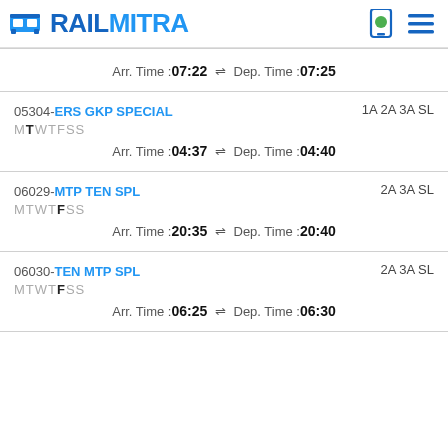RAILMITRA
Arr. Time :07:22 ⇌ Dep. Time :07:25
05304-ERS GKP SPECIAL MTWTFSS 1A 2A 3A SL Arr. Time :04:37 ⇌ Dep. Time :04:40
06029-MTP TEN SPL MTWTFSS 2A 3A SL Arr. Time :20:35 ⇌ Dep. Time :20:40
06030-TEN MTP SPL MTWTFSS 2A 3A SL Arr. Time :06:25 ⇌ Dep. Time :06:30